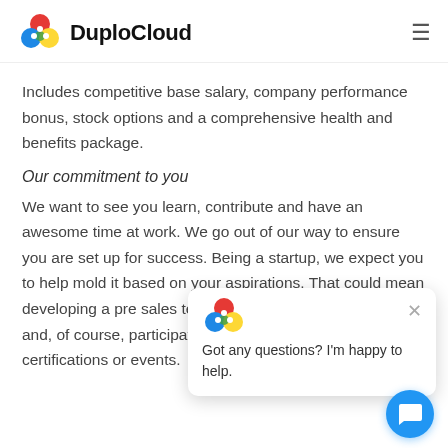DuploCloud
Includes competitive base salary, company performance bonus, stock options and a comprehensive health and benefits package.
Our commitment to you
We want to see you learn, contribute and have an awesome time at work. We go out of our way to ensure you are set up for success. Being a startup, we expect you to help mold it based on your aspirations. That could mean developing a pre sales team, professional services team and, of course, participating in any desired technical certifications or events.
[Figure (other): Chat popup widget with DuploCloud logo icon and message: Got any questions? I'm happy to help. With close button and blue chat circle button.]